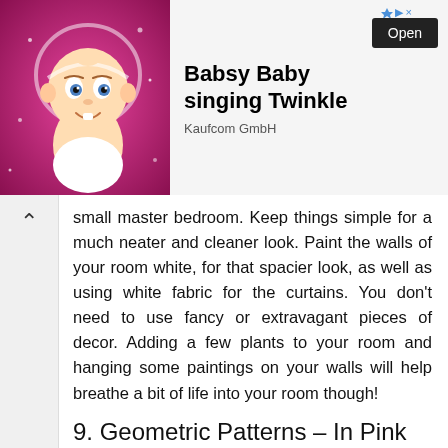[Figure (screenshot): Advertisement banner for 'Babsy Baby singing Twinkle' by Kaufcom GmbH, featuring a cartoon baby on a pink background, with an 'Open' button and a small sponsored icon.]
small master bedroom. Keep things simple for a much neater and cleaner look. Paint the walls of your room white, for that spacier look, as well as using white fabric for the curtains. You don't need to use fancy or extravagant pieces of decor. Adding a few plants to your room and hanging some paintings on your walls will help breathe a bit of life into your room though!
9. Geometric Patterns – In Pink and Black